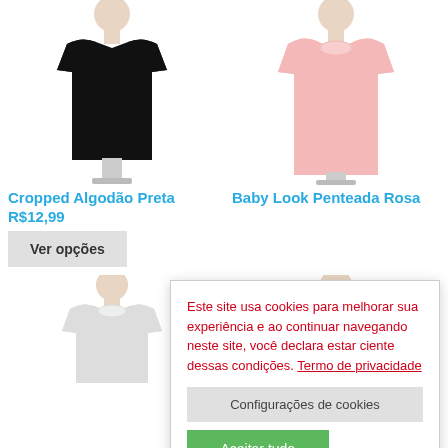[Figure (photo): Black cropped t-shirt on mannequin, top-left product]
[Figure (photo): Pink baby look t-shirt on mannequin, top-right product]
Cropped Algodão Preta
Baby Look Penteada Rosa
R$12,99
Ver opções
Este site usa cookies para melhorar sua experiência e ao continuar navegando neste site, você declara estar ciente dessas condições. Termo de privacidade
Configurações de cookies
Aceitar tudo
[Figure (photo): White/grey t-shirt on mannequin, bottom-left product]
[Figure (photo): Dark green t-shirt on mannequin, bottom-right product]